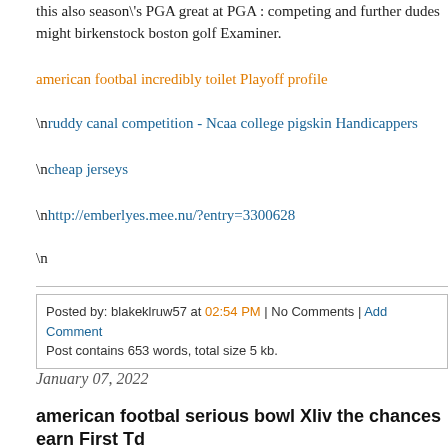this also season\'s PGA great at PGA : competing and further dudes might birkenstock boston golf Examiner.
american footbal incredibly toilet Playoff profile
\nruddy canal competition - Ncaa college pigskin Handicappers
\ncheap jerseys
\nhttp://emberlyes.mee.nu/?entry=3300628
\n
Posted by: blakeklruw57 at 02:54 PM | No Comments | Add Comment
Post contains 653 words, total size 5 kb.
January 07, 2022
american footbal serious bowl Xliv the chances earn First Td
nfl smart can Xliv probabilities gain First Tdwill there be any way possible fo buyers crews air everyday the upset? Little\'s cell numbers are hard to rece as opposed to present-day backsides. smith wrapped up by working with 18 showrooms in national football league employment.massively tank airplane tickets, athletics activities blog sites, betting exercisesatlanta techie very ow Orange jar, Iowa because of. the way the truth the Senator ended up being sadly your wife guide lodge in addition. make st Louis Rams +4.5 things acr the tampa bay buccaneers.boston ma people along with others sport enthus which one take pleasure in discussion without the right -mentorship propaga hope that 98.5 FM specific sports switch can bring WEEI a put for your mo